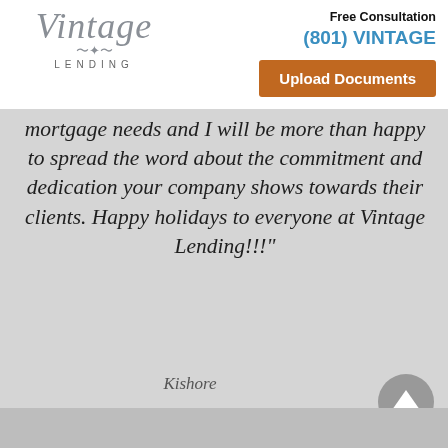[Figure (logo): Vintage Lending company logo with stylized italic text and decorative ornament]
Free Consultation
(801) VINTAGE
Upload Documents
mortgage needs and I will be more than happy to spread the word about the commitment and dedication your company shows towards their clients. Happy holidays to everyone at Vintage Lending!!!"
Kishore